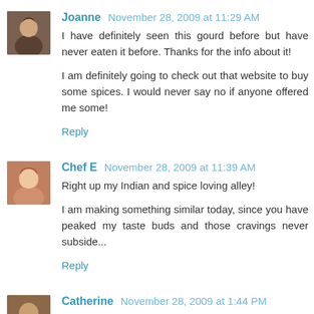Joanne November 28, 2009 at 11:29 AM
I have definitely seen this gourd before but have never eaten it before. Thanks for the info about it!
I am definitely going to check out that website to buy some spices. I would never say no if anyone offered me some!
Reply
Chef E November 28, 2009 at 11:39 AM
Right up my Indian and spice loving alley!
I am making something similar today, since you have peaked my taste buds and those cravings never subside...
Reply
Catherine November 28, 2009 at 1:44 PM
This sounds great Rebecca! I hope you had a wonderful